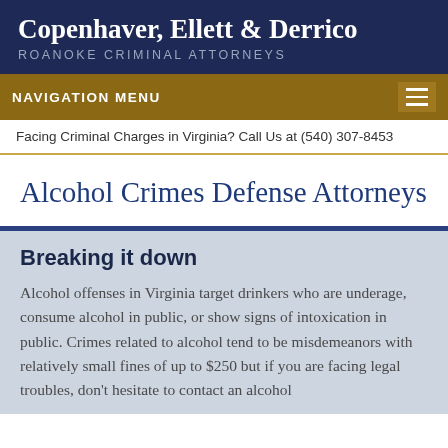Copenhaver, Ellett & Derrico
ROANOKE CRIMINAL ATTORNEYS
NAVIGATION MENU
Facing Criminal Charges in Virginia? Call Us at (540) 307-8453
Alcohol Crimes Defense Attorneys
Breaking it down
Alcohol offenses in Virginia target drinkers who are underage, consume alcohol in public, or show signs of intoxication in public. Crimes related to alcohol tend to be misdemeanors with relatively small fines of up to $250 but if you are facing legal troubles, don't hesitate to contact an alcohol